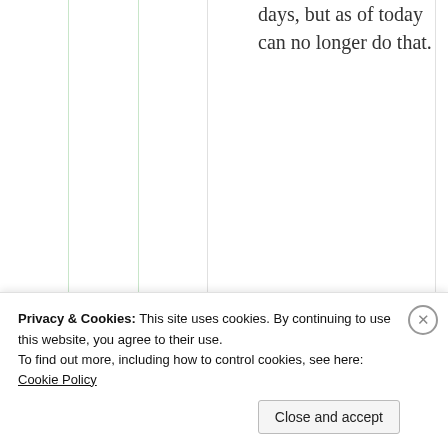days, but as of today can no longer do that.
★ Liked by 1 person
↩ Reply
Privacy & Cookies: This site uses cookies. By continuing to use this website, you agree to their use. To find out more, including how to control cookies, see here: Cookie Policy
Close and accept